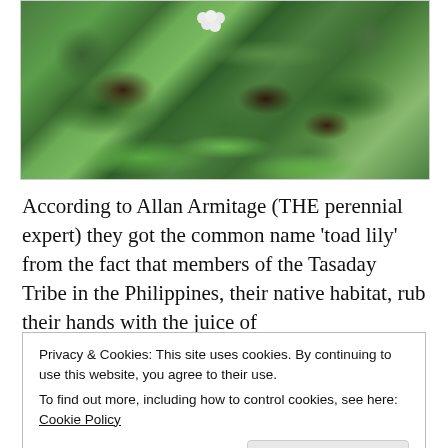[Figure (photo): A photograph of toad lily plants (Tricyrtis) growing in their natural habitat, showing large green leaves with some brown/dark patches, small white star-shaped flowers, and a mossy green ground cover background.]
According to Allan Armitage (THE perennial expert) they got the common name 'toad lily' from the fact that members of the Tasaday Tribe in the Philippines, their native habitat, rub their hands with the juice of the flowers before fishing to attract frogs...
Privacy & Cookies: This site uses cookies. By continuing to use this website, you agree to their use.
To find out more, including how to control cookies, see here: Cookie Policy
Close and accept